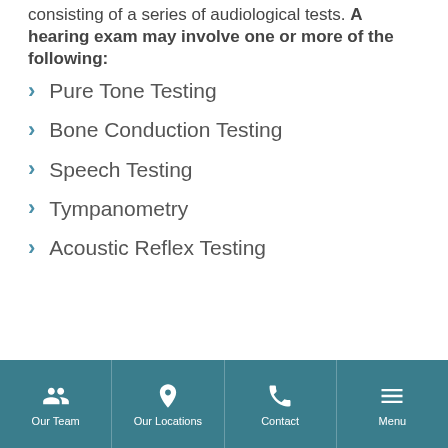consisting of a series of audiological tests. A hearing exam may involve one or more of the following:
Pure Tone Testing
Bone Conduction Testing
Speech Testing
Tympanometry
Acoustic Reflex Testing
Our Team | Our Locations | Contact | Menu